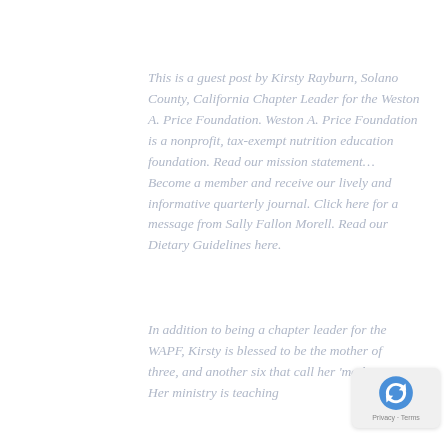This is a guest post by Kirsty Rayburn, Solano County, California Chapter Leader for the Weston A. Price Foundation. Weston A. Price Foundation is a nonprofit, tax-exempt nutrition education foundation. Read our mission statement… Become a member and receive our lively and informative quarterly journal. Click here for a message from Sally Fallon Morell. Read our Dietary Guidelines here.
In addition to being a chapter leader for the WAPF, Kirsty is blessed to be the mother of three, and another six that call her 'motha'! Her ministry is teaching